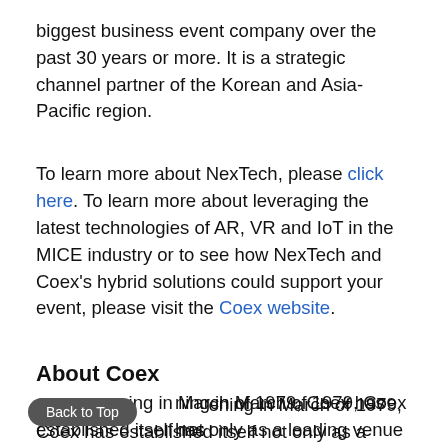biggest business event company over the past 30 years or more. It is a strategic channel partner of the Korean and Asia-Pacific region.
To learn more about NexTech, please click here. To learn more about leveraging the latest technologies of AR, VR and IoT in the MICE industry or to see how NexTech and Coex's hybrid solutions could support your event, please visit the Coex website.
About Coex
Since opening in March of 1979, Coex has established itself not only as a leading venue of